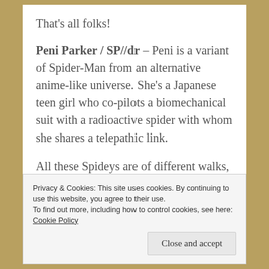That's all folks!
Peni Parker / SP//dr – Peni is a variant of Spider-Man from an alternative anime-like universe. She's a Japanese teen girl who co-pilots a biomechanical suit with a radioactive spider with whom she shares a telepathic link.
All these Spideys are of different walks, different skills, different races, gender, and even species, but they all have the same calling. They put on the spider mantle time and time again, and
Privacy & Cookies: This site uses cookies. By continuing to use this website, you agree to their use.
To find out more, including how to control cookies, see here: Cookie Policy
Close and accept